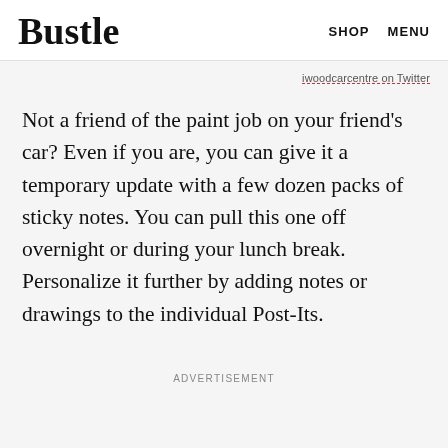Bustle  SHOP  MENU
iwoodcarcentre on Twitter
Not a friend of the paint job on your friend's car? Even if you are, you can give it a temporary update with a few dozen packs of sticky notes. You can pull this one off overnight or during your lunch break. Personalize it further by adding notes or drawings to the individual Post-Its.
ADVERTISEMENT